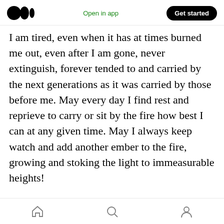Medium logo | Open in app | Get started
I am tired, even when it has at times burned me out, even after I am gone, never extinguish, forever tended to and carried by the next generations as it was carried by those before me. May every day I find rest and reprieve to carry or sit by the fire how best I can at any given time. May I always keep watch and add another ember to the fire, growing and stoking the light to immeasurable heights!
This is my love, generational and wizened, exacting and sure, energizing and gentle, enduring and inextinguishable, insatiable and
Home | Search | Profile